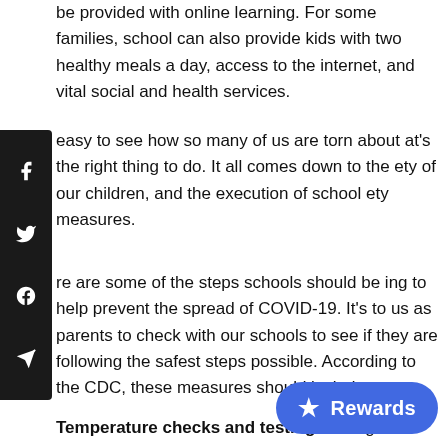be provided with online learning. For some families, school can also provide kids with two healthy meals a day, access to the internet, and vital social and health services.
easy to see how so many of us are torn about at's the right thing to do. It all comes down to the ety of our children, and the execution of school ety measures.
re are some of the steps schools should be ing to help prevent the spread of COVID-19. It's to us as parents to check with our schools to see if they are following the safest steps possible. According to the CDC, these measures should include:
Temperature checks and testing: Taking the